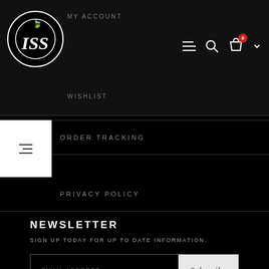[Figure (screenshot): Website header with circular logo containing stylized 'ISS' text and Irish flag leaf, navigation icons (hamburger menu, search, shopping bag with '0' badge, chevron), and partially visible navigation text 'MY ACCOUNT' and 'WISHLIST']
ORDER TRACKING
PRIVACY POLICY
NEWSLETTER
SIGN UP TODAY FOR UP TO DATE INFORMATION.
EMAIL ADDRESS  Subscribe